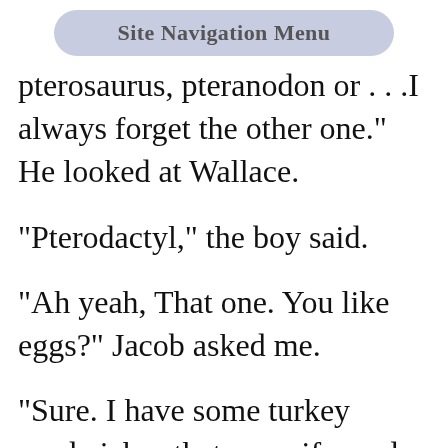Site Navigation Menu
pterosaurus, pteranodon or . . . I always forget the other one." He looked at Wallace.
"Pterodactyl," the boy said.
"Ah yeah, That one. You like eggs?" Jacob asked me.
"Sure. I have some turkey sandwiches that my wife made